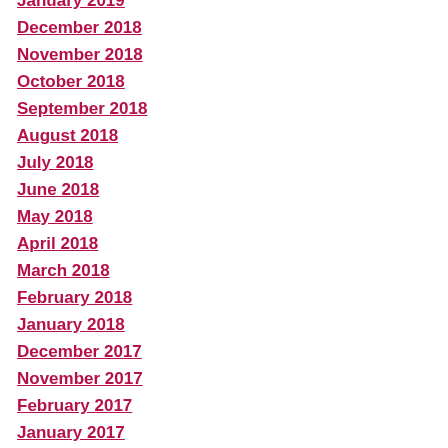January 2019
December 2018
November 2018
October 2018
September 2018
August 2018
July 2018
June 2018
May 2018
April 2018
March 2018
February 2018
January 2018
December 2017
November 2017
February 2017
January 2017